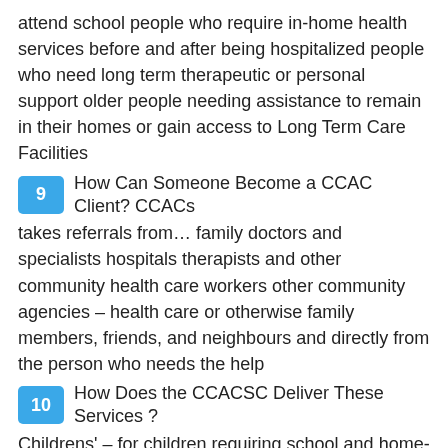attend school people who require in-home health services before and after being hospitalized people who need long term therapeutic or personal support older people needing assistance to remain in their homes or gain access to Long Term Care Facilities
9   How Can Someone Become a CCAC Client? CCACs takes referrals from… family doctors and specialists hospitals therapists and other community health care workers other community agencies – health care or otherwise family members, friends, and neighbours and directly from the person who needs the help
10   How Does the CCACSC Deliver These Services ? Childrens' – for children requiring school and home-based care Acute Medical/Surgical – for people going home from the hospital after surgery or acute medical care or being treated at home Medically Complex – for people with a significant medical condition or event and an unpredictable outcome
11   Programs Provided Cognitive Impairment – for people dealing with dementia, brain injuries, developmental disabilities, etc. Adult Continuing Care – for adults under 75 with long-term care or other complex and chronic needs